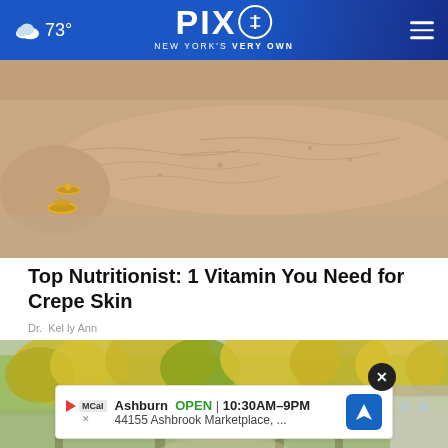73° PIX11 NEW YORK'S VERY OWN
[Figure (photo): Close-up photo of elderly person's arm and hand with wrinkled, crepey skin wearing a gold ring and bracelet]
Top Nutritionist: 1 Vitamin You Need for Crepe Skin
Dr. Kelly Ann
[Figure (photo): Outdoor autumn park scene with yellow and green trees lining a path, with a residential building visible on the right side]
Ashburn OPEN | 10:30AM–9PM
44155 Ashbrook Marketplace, ...